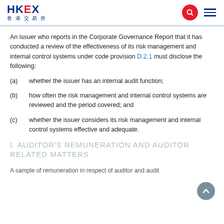HKEX 香港交易所
An issuer who reports in the Corporate Governance Report that it has conducted a review of the effectiveness of its risk management and internal control systems under code provision D.2.1 must disclose the following:
(a) whether the issuer has an internal audit function;
(b) how often the risk management and internal control systems are reviewed and the period covered; and
(c) whether the issuer considers its risk management and internal control systems effective and adequate.
I. AUDITOR'S REMUNERATION AND AUDITOR RELATED MATTERS
A sample of remuneration in respect of auditor and audit...